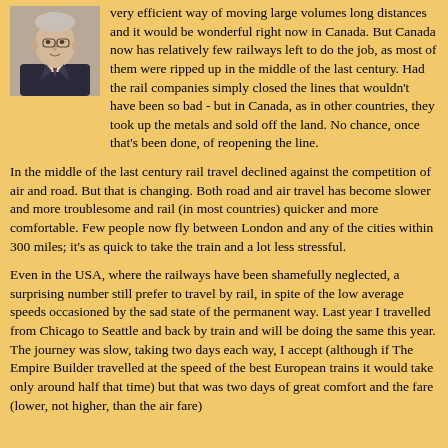[Figure (photo): Portrait photo of an older man in a dark suit with a tie]
very efficient way of moving large volumes long distances and it would be wonderful right now in Canada. But Canada now has relatively few railways left to do the job, as most of them were ripped up in the middle of the last century. Had the rail companies simply closed the lines that wouldn't have been so bad - but in Canada, as in other countries, they took up the metals and sold off the land. No chance, once that's been done, of reopening the line.
In the middle of the last century rail travel declined against the competition of air and road. But that is changing. Both road and air travel has become slower and more troublesome and rail (in most countries) quicker and more comfortable. Few people now fly between London and any of the cities within 300 miles; it's as quick to take the train and a lot less stressful.
Even in the USA, where the railways have been shamefully neglected, a surprising number still prefer to travel by rail, in spite of the low average speeds occasioned by the sad state of the permanent way. Last year I travelled from Chicago to Seattle and back by train and will be doing the same this year. The journey was slow, taking two days each way, I accept (although if The Empire Builder travelled at the speed of the best European trains it would take only around half that time) but that was two days of great comfort and the fare (lower, not higher, than the air fare)